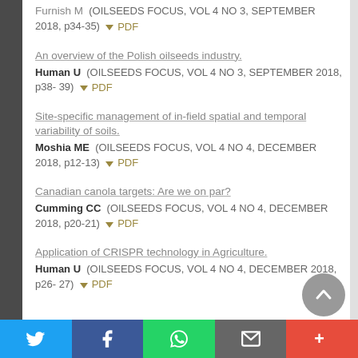(OILSEEDS FOCUS, VOL 4 NO 3, SEPTEMBER 2018, p34-35) ↓ PDF
An overview of the Polish oilseeds industry. Human U (OILSEEDS FOCUS, VOL 4 NO 3, SEPTEMBER 2018, p38-39) ↓ PDF
Site-specific management of in-field spatial and temporal variability of soils. Moshia ME (OILSEEDS FOCUS, VOL 4 NO 4, DECEMBER 2018, p12-13) ↓ PDF
Canadian canola targets: Are we on par? Cumming CC (OILSEEDS FOCUS, VOL 4 NO 4, DECEMBER 2018, p20-21) ↓ PDF
Application of CRISPR technology in Agriculture. Human U (OILSEEDS FOCUS, VOL 4 NO 4, DECEMBER 2018, p26-27) ↓ PDF